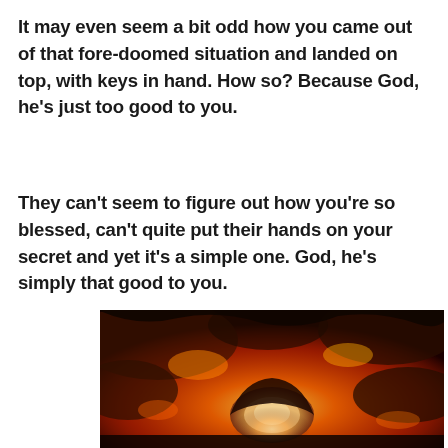It may even seem a bit odd how you came out of that fore-doomed situation and landed on top, with keys in hand. How so? Because God, he's just too good to you.
They can't seem to figure out how you're so blessed, can't quite put their hands on your secret and yet it's a simple one. God, he's simply that good to you.
[Figure (photo): A dramatic photograph of glowing orange and red lava or fire with dark rocky terrain, showing a tunnel or arch opening with a bright sky visible through it.]